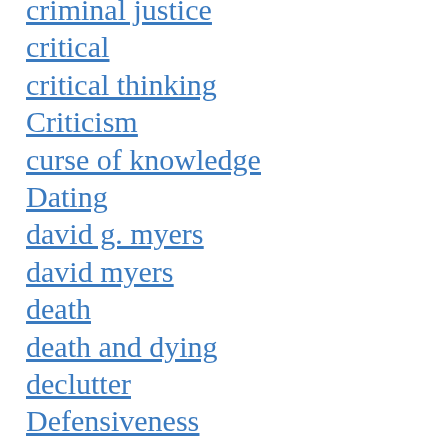criminal justice
critical
critical thinking
Criticism
curse of knowledge
Dating
david g. myers
david myers
death
death and dying
declutter
Defensiveness
Defiance
Delinquency
Delusion
Dementia